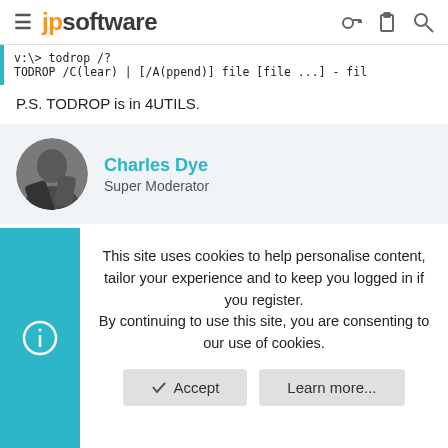jpsoftware
v:\> todrop /?
TODROP /C(lear) | [/A(ppend)] file [file ...] - fil
P.S. TODROP is in 4UTILS.
Charles Dye
Super Moderator
Dec 5, 2012  #16
yofatica said:
This site uses cookies to help personalise content, tailor your experience and to keep you logged in if you register.
By continuing to use this site, you are consenting to our use of cookies.